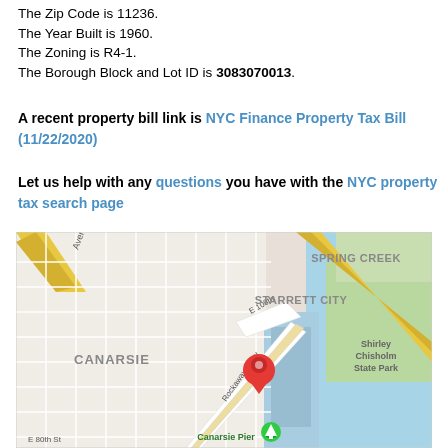The Zip Code is 11236.
The Year Built is 1960.
The Zoning is R4-1.
The Borough Block and Lot ID is 3083070013.
A recent property bill link is NYC Finance Property Tax Bill (11/22/2020)
Let us help with any questions you have with the NYC property tax search page
[Figure (map): Google Maps view showing Canarsie, Starrett City, Spring Creek, and Shirley Chisholm State Park area in Brooklyn, NY. A red location pin is placed near the intersection of Rockaway Pkwy and E 108th St. Canarsie Pier and a green park marker are visible at the bottom.]